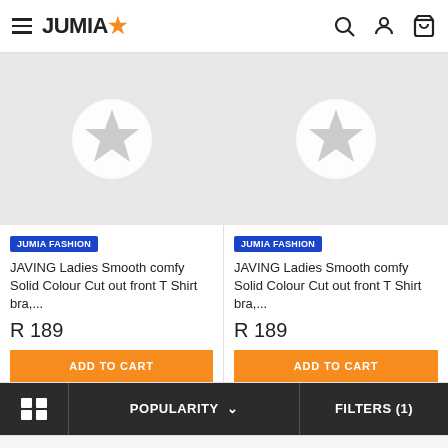JUMIA
[Figure (screenshot): Product image placeholder with white circle and star icon on grey background (left card)]
[Figure (screenshot): Product image placeholder with white circle and star icon on grey background (right card)]
JUMIA FASHION
JAVING Ladies Smooth comfy Solid Colour Cut out front T Shirt bra,...
R 189
ADD TO CART
JUMIA FASHION
JAVING Ladies Smooth comfy Solid Colour Cut out front T Shirt bra,...
R 189
ADD TO CART
POPULARITY
FILTERS (1)
This website uses cookies. For further information on how we use cookies you can read our Privacy and Cookie notice